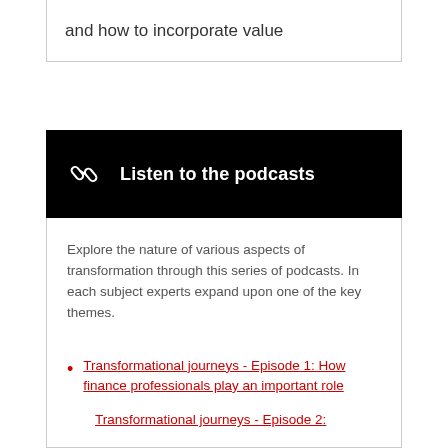and how to incorporate value
[Figure (infographic): Black banner with chain link icon and text 'Listen to the podcasts' in white on black background]
Explore the nature of various aspects of transformation through this series of podcasts. In each subject experts expand upon one of the key themes.
Transformational journeys - Episode 1: How finance professionals play an important role
Transformational journeys - Episode 2: